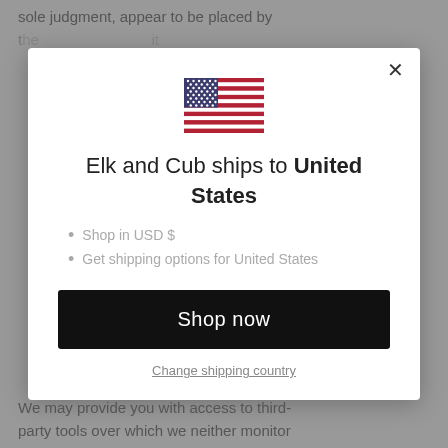sole judgment, appear to be placed by ...
[Figure (illustration): US flag emoji / icon]
Elk and Cub ships to United States
Shop in USD $
Get shipping options for United States
Shop now
Change shipping country
We may provide you with access to third-party tools over which we neither monitor